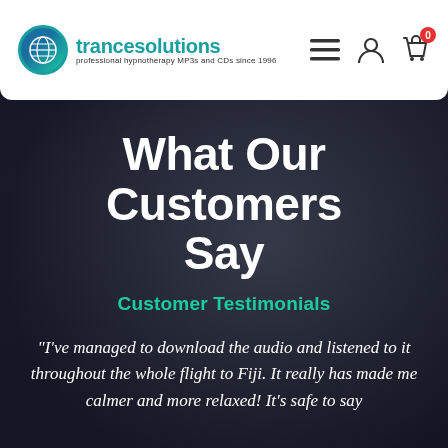[Figure (logo): Trancesolutions logo with teal globe icon and text 'trancesolutions — professional hypnotherapy MP3s and CDs since 1996']
trancesolutions — professional hypnotherapy MP3s and CDs since 1996
[Figure (photo): Dark blurred background showing a person in a dimly lit scene]
What Our Customers Say
Customer Testimonials
"I've managed to download the audio and listened to it throughout the whole flight to Fiji. It really has made me calmer and more relaxed! It's safe to say